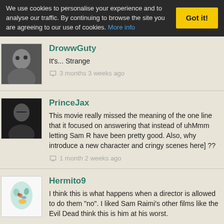We use cookies to personalise your experience and to analyse our traffic. By continuing to browse the site you are agreeing to our use of cookies. More info | Got it!
DrowwGuty
It's... Strange
3 months 3 weeks ago
PrinceJax
This movie really missed the meaning of the one line that it focused on answering that instead of uhMmm letting Sam R have been pretty good. Also, why introduce a new character and cringy scenes here] ??
1 month 2 weeks ago
Hermito9
I think this is what happens when a director is allowed to do them "no". I liked Sam Raimi's other films like the Evil Dead think this is him at his worst.